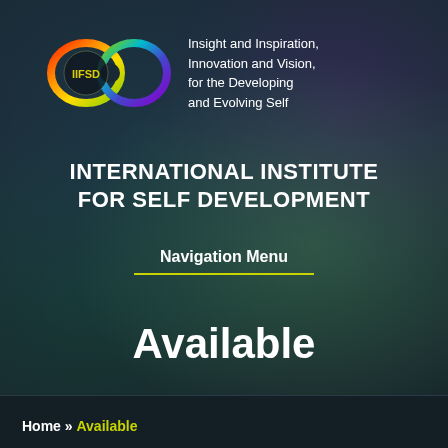[Figure (logo): IIFSD logo with infinity symbol in rainbow gradient colors (red, orange, yellow, green, blue, purple) with 'IIFSD' text in yellow inside a circle on the left loop, and tagline text on the right]
Insight and Inspiration, Innovation and Vision, for the Developing and Evolving Self
INTERNATIONAL INSTITUTE FOR SELF DEVELOPMENT
Navigation Menu
Available
Home » Available